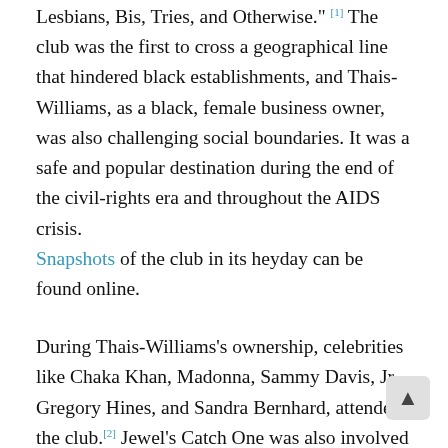Lesbians, Bis, Tries, and Otherwise." [1] The club was the first to cross a geographical line that hindered black establishments, and Thais-Williams, as a black, female business owner, was also challenging social boundaries. It was a safe and popular destination during the end of the civil-rights era and throughout the AIDS crisis. Snapshots of the club in its heyday can be found online.
During Thais-Williams's ownership, celebrities like Chaka Khan, Madonna, Sammy Davis, Jr., Gregory Hines, and Sandra Bernhard, attended the club.[2] Jewel's Catch One was also involved in community outreach to the underserved, helping recovering alcoholics, addicts, and those with HIV/AIDS. In 2001, Thais-Williams opened the Village Health Foundation next door to the club to continue these